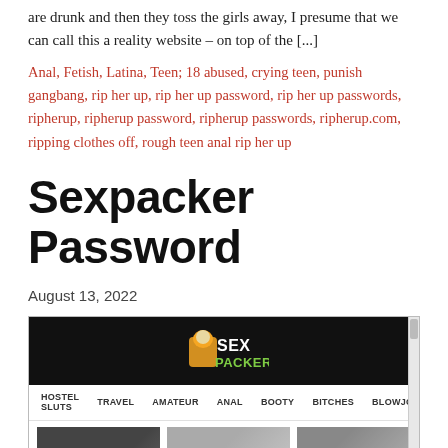are drunk and then they toss the girls away, I presume that we can call this a reality website – on top of the [...]
Anal, Fetish, Latina, Teen; 18 abused, crying teen, punish gangbang, rip her up, rip her up password, rip her up passwords, ripherup, ripherup password, ripherup passwords, ripherup.com, ripping clothes off, rough teen anal rip her up
Sexpacker Password
August 13, 2022
[Figure (screenshot): Screenshot of Sexpacker website showing logo, navigation bar with HOSTEL SLUTS, TRAVEL, AMATEUR, ANAL, BOOTY, BITCHES, BLOWJOB links, Login and JOIN NOW buttons, and thumbnail images below.]